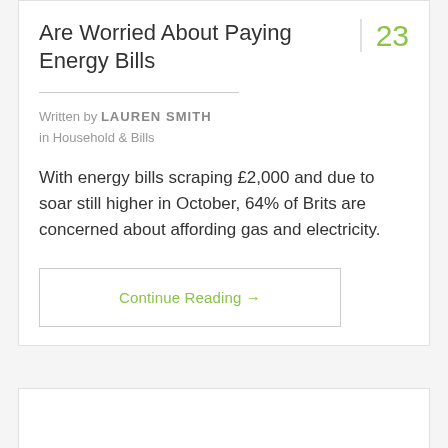Are Worried About Paying Energy Bills
Written by LAUREN SMITH in Household & Bills
With energy bills scraping £2,000 and due to soar still higher in October, 64% of Brits are concerned about affording gas and electricity.
Continue Reading →